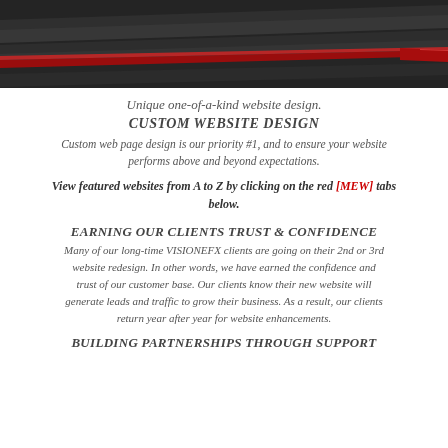[Figure (photo): Black and white photo of pencils with one red pencil, close-up banner image at the top of the page]
Unique one-of-a-kind website design.
CUSTOM WEBSITE DESIGN
Custom web page design is our priority #1, and to ensure your website performs above and beyond expectations.
View featured websites from A to Z by clicking on the red [MEW] tabs below.
EARNING OUR CLIENTS TRUST & CONFIDENCE
Many of our long-time VISIONEFX clients are going on their 2nd or 3rd website redesign. In other words, we have earned the confidence and trust of our customer base. Our clients know their new website will generate leads and traffic to grow their business. As a result, our clients return year after year for website enhancements.
BUILDING PARTNERSHIPS THROUGH SUPPORT